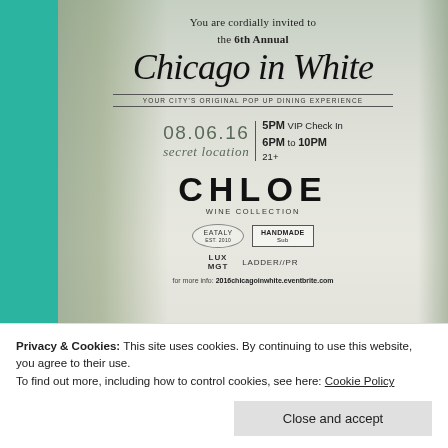[Figure (illustration): Event flyer for 6th Annual Chicago in White pop-up dining experience. Shows date 08.06.16, secret location, 5PM VIP Check In, 6PM to 10PM, 21+. Sponsors: Chloe Wine Collection, Eataly, Handmade Sub, Lux Mgt, Ladder PR. More info at 2016chicagoinwhite.eventbrite.com]
Privacy & Cookies: This site uses cookies. By continuing to use this website, you agree to their use.
To find out more, including how to control cookies, see here: Cookie Policy
Close and accept
gathering since its launch in 2011.